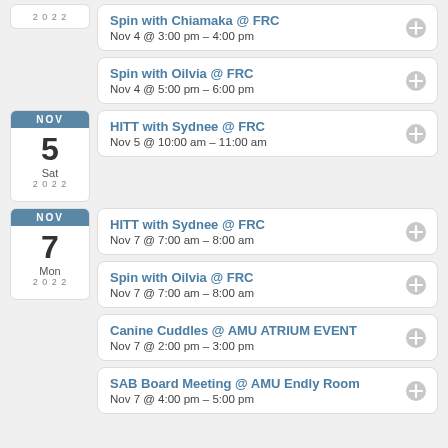Spin with Chiamaka @ FRC — Nov 4 @ 3:00 pm – 4:00 pm
Spin with Oilvia @ FRC — Nov 4 @ 5:00 pm – 6:00 pm
HITT with Sydnee @ FRC — Nov 5 @ 10:00 am – 11:00 am
HITT with Sydnee @ FRC — Nov 7 @ 7:00 am – 8:00 am
Spin with Oilvia @ FRC — Nov 7 @ 7:00 am – 8:00 am
Canine Cuddles @ AMU ATRIUM EVENT — Nov 7 @ 2:00 pm – 3:00 pm
SAB Board Meeting @ AMU Endly Room — Nov 7 @ 4:00 pm – 5:00 pm